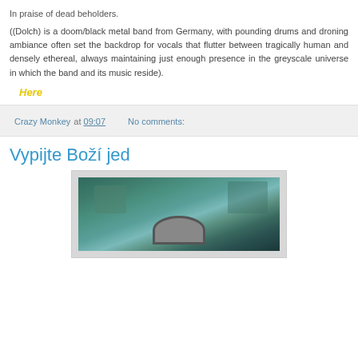In praise of dead beholders.
((Dolch) is a doom/black metal band from Germany, with pounding drums and droning ambiance often set the backdrop for vocals that flutter between tragically human and densely ethereal, always maintaining just enough presence in the greyscale universe in which the band and its music reside).
Here
Crazy Monkey at 09:07    No comments:
Vypijte Boží jed
[Figure (photo): A dark, textured image showing cracked stone or mosaic tiles in teal/green tones with a circular metallic element (gauge or dial) visible at the bottom center.]